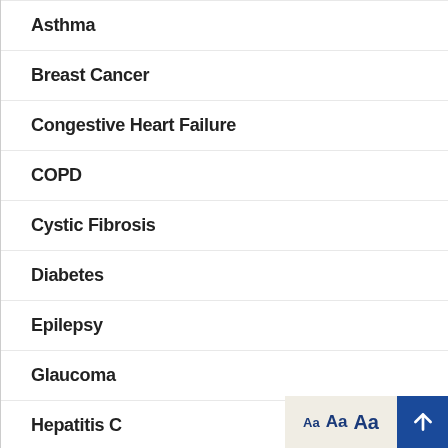Asthma
Breast Cancer
Congestive Heart Failure
COPD
Cystic Fibrosis
Diabetes
Epilepsy
Glaucoma
Hepatitis C
Hypertension
Lymphedema